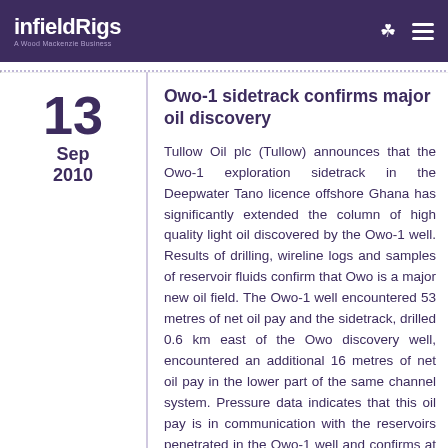infieldRigs — A Wood Mackenzie Business
Owo-1 sidetrack confirms major oil discovery
13 Sep 2010
Tullow Oil plc (Tullow) announces that the Owo-1 exploration sidetrack in the Deepwater Tano licence offshore Ghana has significantly extended the column of high quality light oil discovered by the Owo-1 well. Results of drilling, wireline logs and samples of reservoir fluids confirm that Owo is a major new oil field. The Owo-1 well encountered 53 metres of net oil pay and the sidetrack, drilled 0.6 km east of the Owo discovery well, encountered an additional 16 metres of net oil pay in the lower part of the same channel system. Pressure data indicates that this oil pay is in communication with the reservoirs penetrated in the Owo-1 well and confirms at least 69 metres of total net oil pay in a substantial gross oil column of 200 metres. Beneath the Owo oil field, 13 metres of net condensate pay was also discovered, with